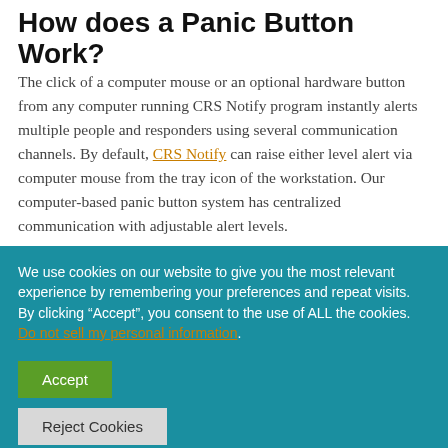How does a Panic Button Work?
The click of a computer mouse or an optional hardware button from any computer running CRS Notify program instantly alerts multiple people and responders using several communication channels. By default, CRS Notify can raise either level alert via computer mouse from the tray icon of the workstation. Our computer-based panic button system has centralized communication with adjustable alert levels.
We use cookies on our website to give you the most relevant experience by remembering your preferences and repeat visits. By clicking “Accept”, you consent to the use of ALL the cookies. Do not sell my personal information.
Accept
Reject Cookies